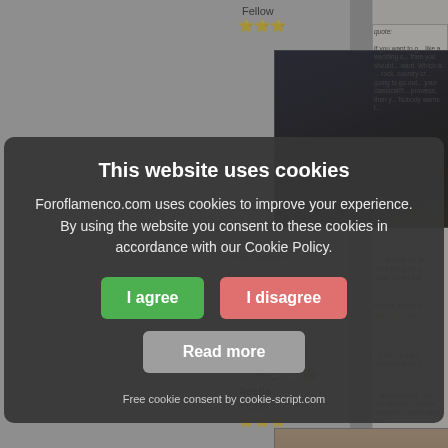[Figure (screenshot): Background of a forum page (Foroflamenco.com) showing a user post with 'Fellow' label, star rating, dark photo of a man with long hair, posts/from info, and a right column with a quote box. Below, another user 'koella' with Fellow label and stars. A cookie consent modal dialog overlays the page.]
This website uses cookies
Foroflamenco.com uses cookies to improve your experience. By using the website you consent to these cookies in accordance with our Cookie Policy.
I agree
I disagree
Read more
Free cookie consent by cookie-script.com